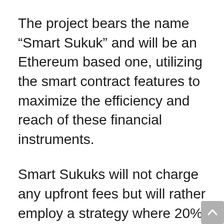The project bears the name “Smart Sukuk” and will be an Ethereum based one, utilizing the smart contract features to maximize the efficiency and reach of these financial instruments.
Smart Sukuks will not charge any upfront fees but will rather employ a strategy where 20% of the investors profits will be paid back to Blossom.
Khalid Howladar, chief strategy officer of the project, confirmed that the asset will use a profit sharing structure and have a profit rate of around 10 percent.